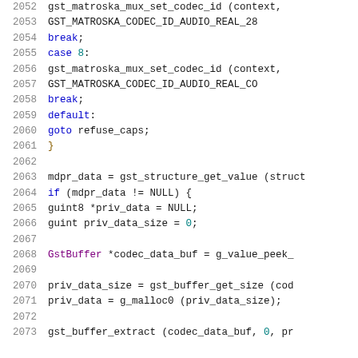[Figure (screenshot): Source code listing showing C code for a GStreamer matroska mux function, lines 2052-2073, with syntax highlighting]